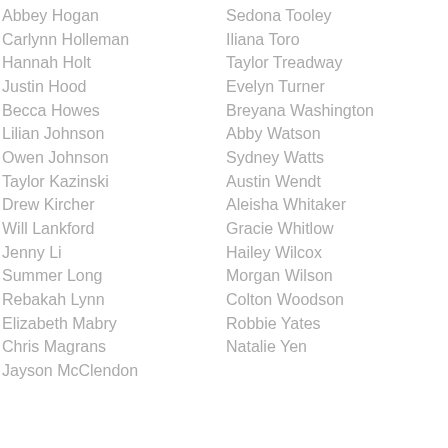Abbey Hogan
Carlynn Holleman
Hannah Holt
Justin Hood
Becca Howes
Lilian Johnson
Owen Johnson
Taylor Kazinski
Drew Kircher
Will Lankford
Jenny Li
Summer Long
Rebakah Lynn
Elizabeth Mabry
Chris Magrans
Jayson McClendon
Sedona Tooley
Iliana Toro
Taylor Treadway
Evelyn Turner
Breyana Washington
Abby Watson
Sydney Watts
Austin Wendt
Aleisha Whitaker
Gracie Whitlow
Hailey Wilcox
Morgan Wilson
Colton Woodson
Robbie Yates
Natalie Yen